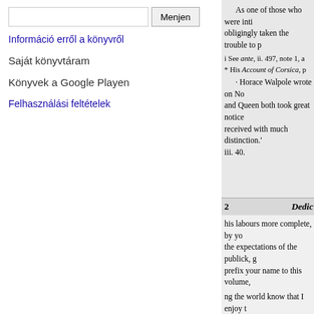[search input] Menjen
Információ erről a könyvről
Saját könyvtáram
Könyvek a Google Playen
Felhasználási feltételek
As one of those who were inti... obligingly taken the trouble to p...
i See ante, ii. 497, note 1, a... * His Account of Corsica, p...
· Horace Walpole wrote on No... and Queen both took great notice... received with much distinction.' ... iii. 40.
2   Dedic...
his labours more complete, by yo... the expectations of the publick, g... prefix your name to this volume,...
ng the world know that I enjoy t... the sincere regard with which I a...
My dear Sir,
Your very faithful
And obedient servant,